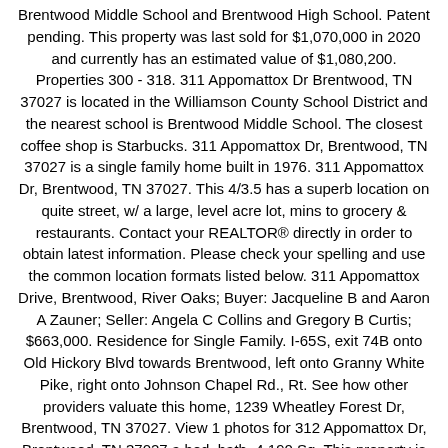Brentwood Middle School and Brentwood High School. Patent pending. This property was last sold for $1,070,000 in 2020 and currently has an estimated value of $1,080,200. Properties 300 - 318. 311 Appomattox Dr Brentwood, TN 37027 is located in the Williamson County School District and the nearest school is Brentwood Middle School. The closest coffee shop is Starbucks. 311 Appomattox Dr, Brentwood, TN 37027 is a single family home built in 1976. 311 Appomattox Dr, Brentwood, TN 37027. This 4/3.5 has a superb location on quite street, w/ a large, level acre lot, mins to grocery & restaurants. Contact your REALTOR® directly in order to obtain latest information. Please check your spelling and use the common location formats listed below. 311 Appomattox Drive, Brentwood, River Oaks; Buyer: Jacqueline B and Aaron A Zauner; Seller: Angela C Collins and Gregory B Curtis; $663,000. Residence for Single Family. I-65S, exit 74B onto Old Hickory Blvd towards Brentwood, left onto Granny White Pike, right onto Johnson Chapel Rd., Rt. See how other providers valuate this home, 1239 Wheatley Forest Dr, Brentwood, TN 37027. View 1 photos for 312 Appomattox Dr, Brentwood, TN 37027 a bed, bath, 4,190 Sq. This property is not currently available for sale. Bedrooms: 4Bathrooms: 3Area: 3,814 square feet. Get public record data , property price, and other neighborhood information like area school performances and demographic data for 311 Appomattox Dr, Brentwood TN Loan and interest only. In the last 8 years, this home has increased its value by 87%. Consult with a real estate agent for specific fee